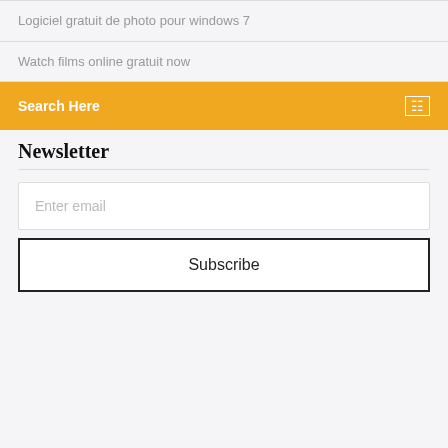Logiciel gratuit de photo pour windows 7
Watch films online gratuit now
Search Here
Newsletter
Enter email
Subscribe